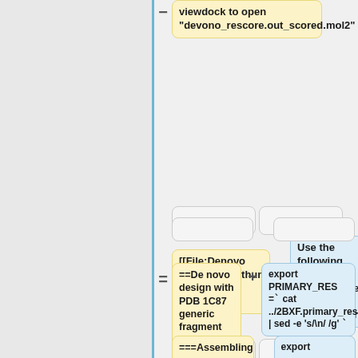viewdock to open "devono_rescore.out_scored.mol2"
[[File:Denovo rescore.png|thumb|center|600px| Denovo Rescore]]
Use the following script to generate the grids. (multigrid.sh)
==De novo design with PDB 1C87 generic fragment library==
export PRIMARY_RES =` cat ../2BXF.primary_residues.dat | sed -e 's/\n/ /g' `
===Assembling
export